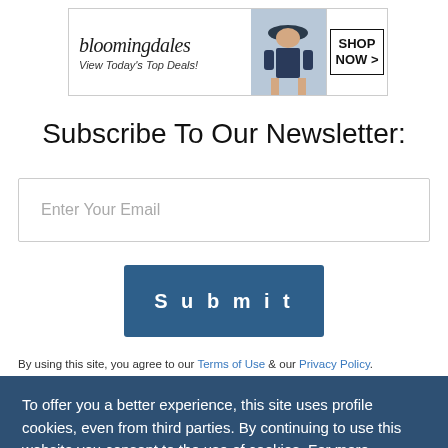[Figure (other): Bloomingdale's advertisement banner with logo, woman in hat, 'View Today's Top Deals!' tagline and 'SHOP NOW >' button]
Subscribe To Our Newsletter:
Enter Your Email
Submit
By using this site, you agree to our Terms of Use & our Privacy Policy.
To offer you a better experience, this site uses profile cookies, even from third parties. By continuing to use this website you consent to the use of cookies. For more information or to select your preferences consult our Privacy Policy
Cookie Settings  ✓ OK